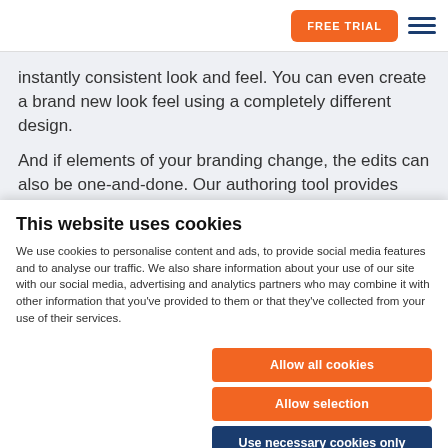[Figure (screenshot): Navigation bar with FREE TRIAL orange button and hamburger menu icon]
instantly consistent look and feel. You can even create a brand new look feel using a completely different design.
And if elements of your branding change, the edits can also be one-and-done. Our authoring tool provides reusability and uses dynamic content production. That
This website uses cookies
We use cookies to personalise content and ads, to provide social media features and to analyse our traffic. We also share information about your use of our site with our social media, advertising and analytics partners who may combine it with other information that you've provided to them or that they've collected from your use of their services.
Allow all cookies
Allow selection
Use necessary cookies only
Necessary  Preferences  Statistics  Marketing  Show details